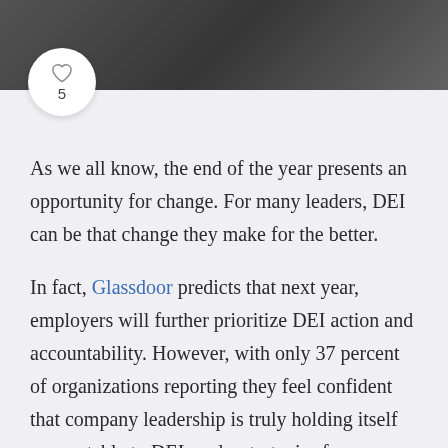[Figure (photo): Dark grayscale photo strip at top of page showing a person partially visible]
As we all know, the end of the year presents an opportunity for change. For many leaders, DEI can be that change they make for the better.
In fact, Glassdoor predicts that next year, employers will further prioritize DEI action and accountability. However, with only 37 percent of organizations reporting they feel confident that company leadership is truly holding itself accountable to DEI goals, strategies for success must change in 2022.